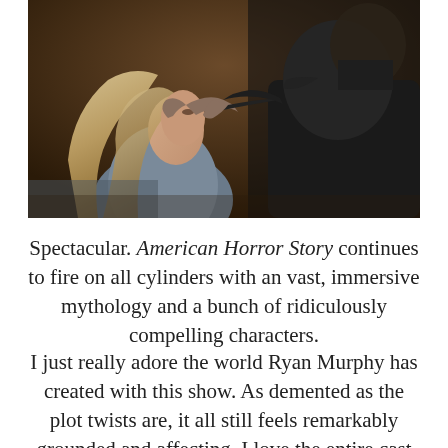[Figure (photo): A dramatic scene showing a woman with long blonde hair being held by the face/neck by a man in a dark hoodie. The lighting is dim and moody, suggesting a tense or emotional moment.]
Spectacular. American Horror Story continues to fire on all cylinders with an vast, immersive mythology and a bunch of ridiculously compelling characters.
I just really adore the world Ryan Murphy has created with this show. As demented as the plot twists are, it all still feels remarkably grounded and affecting. I love the entire cast of psychos and their various traumas